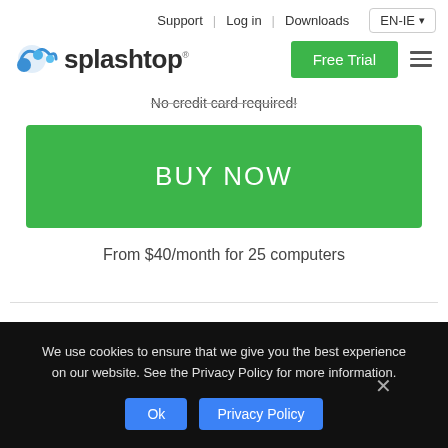Support | Log in | Downloads | EN-IE
[Figure (logo): Splashtop logo: blue splash icon and splashtop wordmark]
No credit card required!
BUY NOW
From $40/month for 25 computers
We use cookies to ensure that we give you the best experience on our website. See the Privacy Policy for more information.
Ok   Privacy Policy